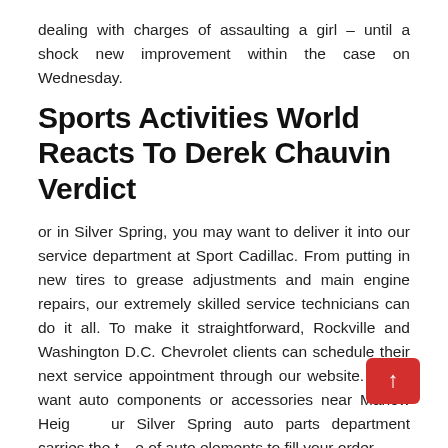dealing with charges of assaulting a girl – until a shock new improvement within the case on Wednesday.
Sports Activities World Reacts To Derek Chauvin Verdict
or in Silver Spring, you may want to deliver it into our service department at Sport Cadillac. From putting in new tires to grease adjustments and main engine repairs, our extremely skilled service technicians can do it all. To make it straightforward, Rockville and Washington D.C. Chevrolet clients can schedule their next service appointment through our website. If you want auto components or accessories near Marlow Heights ur Silver Spring auto parts department carries the t e of auto elements to fill your order.